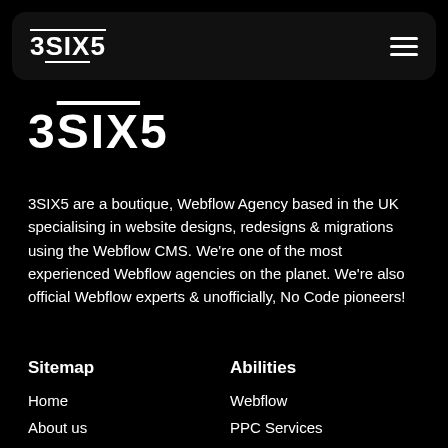3SIX5
3SIX5
3SIX5 are a boutique, Webflow Agency based in the UK specialising in website designs, redesigns & migrations using the Webflow CMS. We're one of the most experienced Webflow agencies on the planet. We're also official Webflow experts & unofficially, No Code pioneers!
Sitemap
Home
About us
Blog
Abilities
Abilities
Webflow
PPC Services
Website Design
Digital Advertising